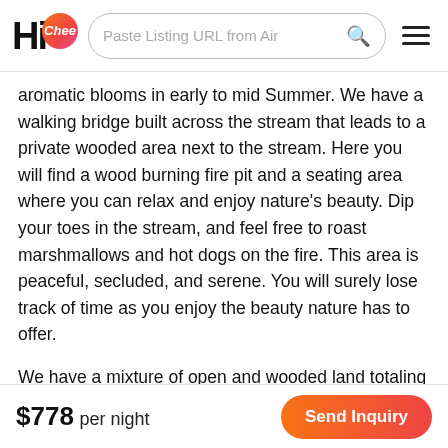HiChee — Paste Listing URL from Airbnb [search] [menu]
aromatic blooms in early to mid Summer. We have a walking bridge built across the stream that leads to a private wooded area next to the stream. Here you will find a wood burning fire pit and a seating area where you can relax and enjoy nature's beauty. Dip your toes in the stream, and feel free to roast marshmallows and hot dogs on the fire. This area is peaceful, secluded, and serene. You will surely lose track of time as you enjoy the beauty nature has to offer.
We have a mixture of open and wooded land totaling just over 2 acres, with the privacy and seclusion you want for you vacation. The driveway and parking area are paved, and there is plenty of room for numerous vehicles to park.
You are just a few minutes away from all the action Gatlinburg
$778 per night    Send Inquiry